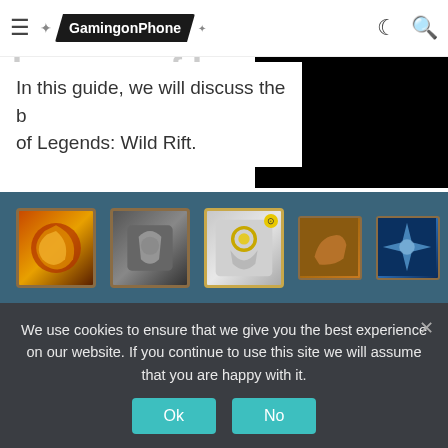GamingonPhone
Best Build for Shen in League of Legends: Wild Rift
In this guide, we will discuss the best build of Legends: Wild Rift.
[Figure (screenshot): Row of six game item icons on a dark teal/blue background]
Image via Riot Games
Sunfire Aegis: Shen needs only one thing to truly shine in games, and that's bonus health. Sunfire Aegis
We use cookies to ensure that we give you the best experience on our website. If you continue to use this site we will assume that you are happy with it.